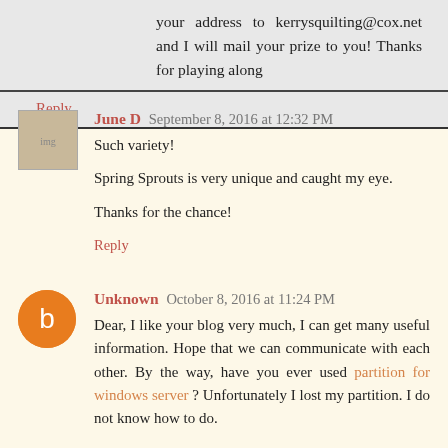your address to kerrysquilting@cox.net and I will mail your prize to you! Thanks for playing along
Reply
June D  September 8, 2016 at 12:32 PM
Such variety!

Spring Sprouts is very unique and caught my eye.

Thanks for the chance!
Reply
Unknown  October 8, 2016 at 11:24 PM
Dear, I like your blog very much, I can get many useful information. Hope that we can communicate with each other. By the way, have you ever used partition for windows server ? Unfortunately I lost my partition. I do not know how to do.